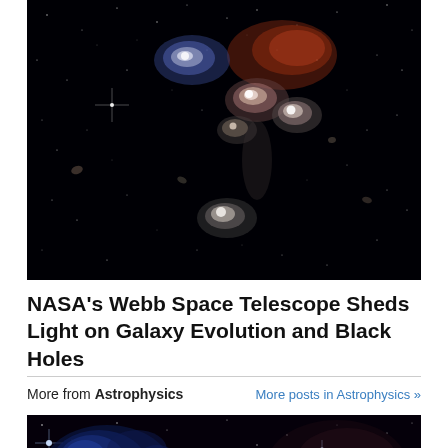[Figure (photo): Deep space image showing a cluster of galaxies (Stephan's Quintet) with bright interacting galaxies against a black starfield, featuring colorful nebulosity in red, blue and white tones — taken by NASA's Webb Space Telescope.]
NASA's Webb Space Telescope Sheds Light on Galaxy Evolution and Black Holes
More from Astrophysics    More posts in Astrophysics »
[Figure (photo): Deep space image showing a star-forming nebula region with blue and orange gas clouds and bright stars against a dark background.]